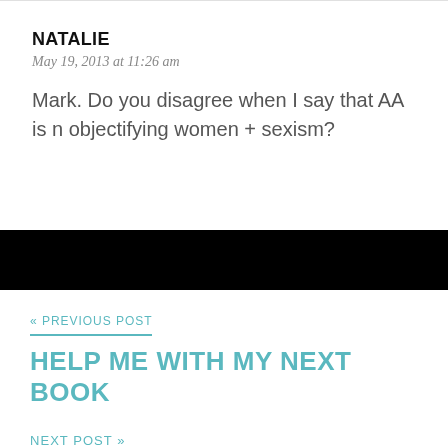NATALIE
May 19, 2013 at 11:26 am
Mark. Do you disagree when I say that AA is n objectifying women + sexism?
« PREVIOUS POST
HELP ME WITH MY NEXT BOOK
NEXT POST »